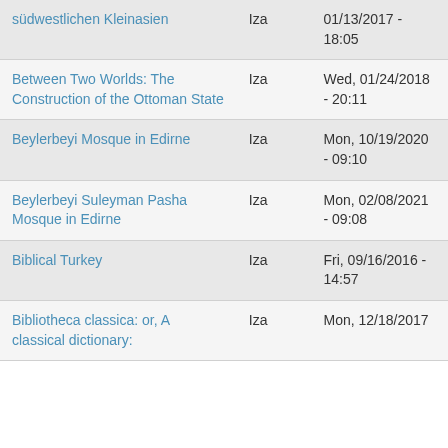| Title | User | Date |
| --- | --- | --- |
| südwestlichen Kleinasien | Iza | 01/13/2017 - 18:05 |
| Between Two Worlds: The Construction of the Ottoman State | Iza | Wed, 01/24/2018 - 20:11 |
| Beylerbeyi Mosque in Edirne | Iza | Mon, 10/19/2020 - 09:10 |
| Beylerbeyi Suleyman Pasha Mosque in Edirne | Iza | Mon, 02/08/2021 - 09:08 |
| Biblical Turkey | Iza | Fri, 09/16/2016 - 14:57 |
| Bibliotheca classica: or, A classical dictionary: | Iza | Mon, 12/18/2017 |